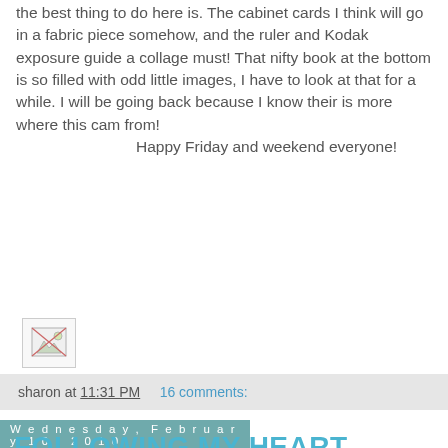the best thing to do here is. The cabinet cards I think will go in a fabric piece somehow, and the ruler and Kodak exposure guide a collage must! That nifty book at the bottom is so filled with odd little images, I have to look at that for a while. I will be going back because I know their is more where this cam from!
    Happy Friday and weekend everyone!
[Figure (photo): Broken/missing image placeholder icon]
sharon at 11:31 PM    16 comments:
Wednesday, February 10, 2010
FOLLOWING MY HEART
[Figure (photo): Vintage fabric dolls or figurines with red hair and green/red clothing on a beige background]